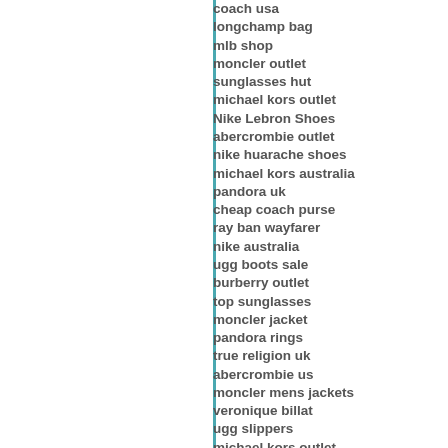coach usa
longchamp bag
mlb shop
moncler outlet
sunglasses hut
michael kors outlet
Nike Lebron Shoes
abercrombie outlet
nike huarache shoes
michael kors australia
pandora uk
cheap coach purse
ray ban wayfarer
nike australia
ugg boots sale
burberry outlet
top sunglasses
moncler jacket
pandora rings
true religion uk
abercrombie us
moncler mens jackets
veronique billat
ugg slippers
michael kors outlet
pandora jewelry
canada goose outlet
Burberry Outlet
pandora bracelets
prada bags